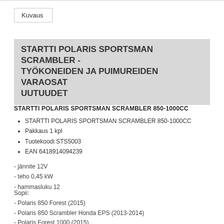STARTTI POLARIS SPORTSMAN SCRAMBLER - TYÖKONEIDEN JA PUIMUREIDEN VARAOSAT UUTUUDET
STARTTI POLARIS SPORTSMAN SCRAMBLER 850-1000CC
STARTTI POLARIS SPORTSMAN SCRAMBLER 850-1000CC
Pakkaus 1 kpl
Tuotekoodi STS5003
EAN 6418914094239
- jännite 12V
- teho 0,45 kW
- hammasluku 12
Sopii:
- Polaris 850 Forest (2015)
- Polaris 850 Scrambler Honda EPS (2013-2014)
- Polaris Forest 1000 (2015)
- Polaris Scrambler 1000 XP (2016)
- Polaris Scrambler 1000 XP EPS (2014-2015)
- Polaris Scrambler 1000 XP Honda EPS (2014)
- Polaris Scrambler 850 (2015)